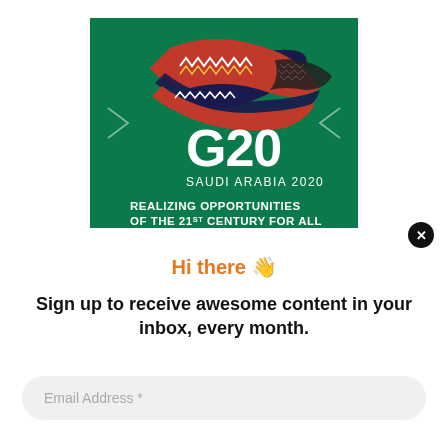[Figure (logo): G20 Saudi Arabia 2020 banner on green background with decorative ribbon/band logo. Text: G20, SAUDI ARABIA 2020, REALIZING OPPORTUNITIES OF THE 21ST CENTURY FOR ALL. Diamond chevron shapes on left and right sides.]
Hi there 👋
Sign up to receive awesome content in your inbox, every month.
Email Address *